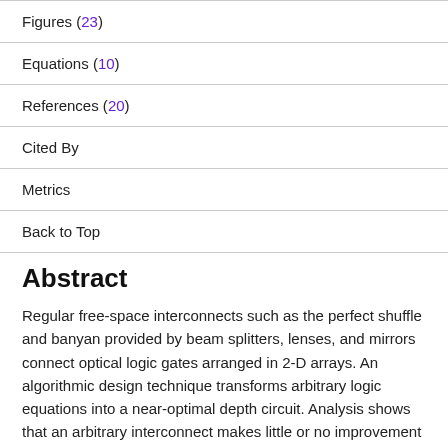Figures (23)
Equations (10)
References (20)
Cited By
Metrics
Back to Top
Abstract
Regular free-space interconnects such as the perfect shuffle and banyan provided by beam splitters, lenses, and mirrors connect optical logic gates arranged in 2-D arrays. An algorithmic design technique transforms arbitrary logic equations into a near-optimal depth circuit. Analysis shows that an arbitrary interconnect makes little or no improvement in circuit depth and can even reduce throughput. Gate count is normally higher with a regular interconnect, and we show cost bounds. We conclude that regularly interconnected circuits will